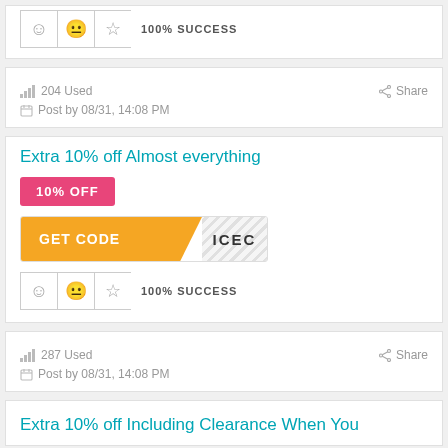[Figure (other): Emoji rating row with smiley, neutral, star icons and 100% SUCCESS label]
204 Used
Share
Post by 08/31, 14:08 PM
Extra 10% off Almost everything
10% OFF
[Figure (other): GET CODE button with coupon code ICEC partially revealed]
[Figure (other): Emoji rating row with smiley, neutral, star icons and 100% SUCCESS label]
287 Used
Share
Post by 08/31, 14:08 PM
Extra 10% off Including Clearance When You